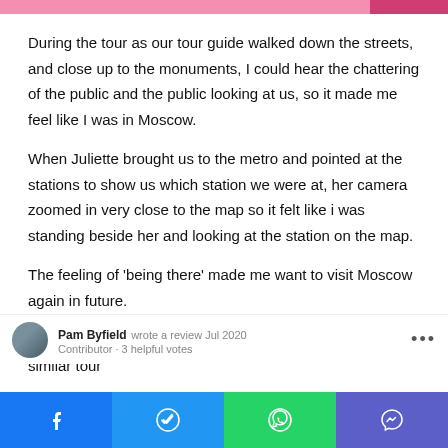During the tour as our tour guide walked down the streets, and close up to the monuments, I could hear the chattering of the public and the public looking at us, so it made me feel like I was in Moscow.
When Juliette brought us to the metro and pointed at the stations to show us which station we were at, her camera zoomed in very close to the map so it felt like i was standing beside her and looking at the station on the map.
The feeling of ‘being there’ made me want to visit Moscow again in future.
Same sentiments as this other tourist who went for a similar tour
Pam Byfield wrote a review Jul 2020